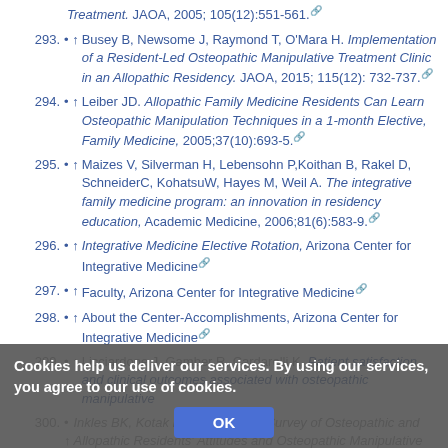293. ↑ Busey B, Newsome J, Raymond T, O'Mara H. Implementation of a Resident-Led Osteopathic Manipulative Treatment Clinic in an Allopathic Residency. JAOA, 2015; 115(12): 732-737.
294. ↑ Leiber JD. Allopathic Family Medicine Residents Can Learn Osteopathic Manipulation Techniques in a 1-month Elective, Family Medicine, 2005;37(10):693-5.
295. ↑ Maizes V, Silverman H, Lebensohn P,Koithan B, Rakel D, SchneiderC, KohatsuW, Hayes M, Weil A. The integrative family medicine program: an innovation in residency education, Academic Medicine, 2006;81(6):583-9.
296. ↑ Integrative Medicine Elective Rotation, Arizona Center for Integrative Medicine
297. ↑ Faculty, Arizona Center for Integrative Medicine
298. ↑ About the Center-Accomplishments, Arizona Center for Integrative Medicine
299. ↑ Licciardone J, Gamber R, Cardarelli K. Patient satisfaction and clinical outcomes associated with osteopathic manipulative treatment...
300. ↑ Inkles BK, Kotak MH, Mainar K... Survey of Osteopathic and Allopathic Residents' Attitudes and Osteopathic Manipulative Treatment. JAOA, 2005;105(12):551-561.